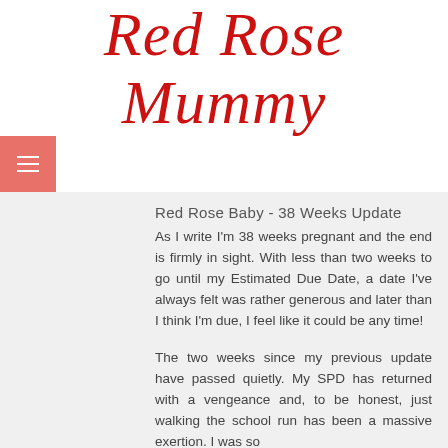Red Rose Mummy
Red Rose Baby - 38 Weeks Update
As I write I'm 38 weeks pregnant and the end is firmly in sight. With less than two weeks to go until my Estimated Due Date, a date I've always felt was rather generous and later than I think I'm due, I feel like it could be any time!
The two weeks since my previous update have passed quietly. My SPD has returned with a vengeance and, to be honest, just walking the school run has been a massive exertion. I was so